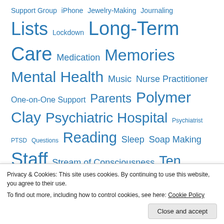[Figure (infographic): Tag cloud with words of varying sizes in blue: Support Group, iPhone, Jewelry-Making, Journaling, Lists (largest), Lockdown, Long-Term Care (very large), Medication, Memories (large), Mental Health (large), Music, Nurse Practitioner, One-on-One Support, Parents, Polymer Clay (large), Psychiatric Hospital (large), Psychiatrist, PTSD, Questions, Reading (large), Sleep, Soap Making, Staff (very large), Stream of Consciousness, Ten Things of Thankful (large), Topiramate, Trauma, Walking (large), Weather (large), Writing]
FOLLOW BLOG VIA EMAIL
Privacy & Cookies: This site uses cookies. By continuing to use this website, you agree to their use. To find out more, including how to control cookies, see here: Cookie Policy
Close and accept